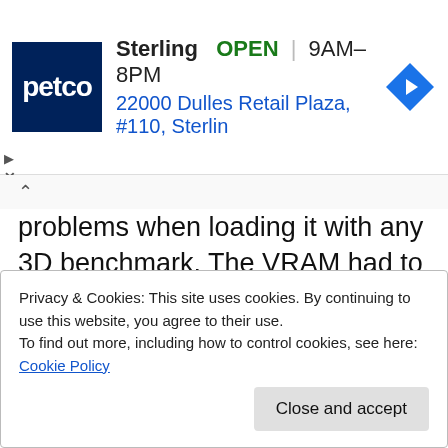[Figure (screenshot): Petco advertisement banner showing store name Sterling, status OPEN, hours 9AM-8PM, address 22000 Dulles Retail Plaza, #110, Sterlin, with Petco logo and navigation arrow icon]
problems when loading it with any 3D benchmark. The VRAM had to run at 1953MHz which was close to my 2GHz goal but it just couldn't reach it.
It is worth noting that setting the power target to the maximum in eVGA Precision does increase the maximum temperature allowance to 94°c which is
Privacy & Cookies: This site uses cookies. By continuing to use this website, you agree to their use.
To find out more, including how to control cookies, see here: Cookie Policy
Close and accept